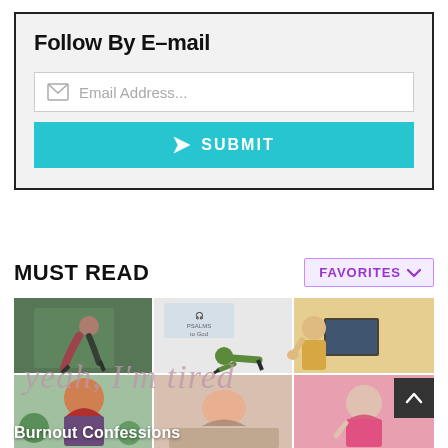Follow By E-mail
Email Address...
SUBMIT
MUST READ
FAVORITES
[Figure (photo): Collage of 6 images showing people exercising, doing yoga/planks, a laptop screen, someone tired at desk, a woman with red hair, someone sleeping, and a person looking contemplative. Overlaid with cursive text 'yeah, I'm tired'. Bottom left shows 'Burnout Confessions' text.]
Burnout Confessions